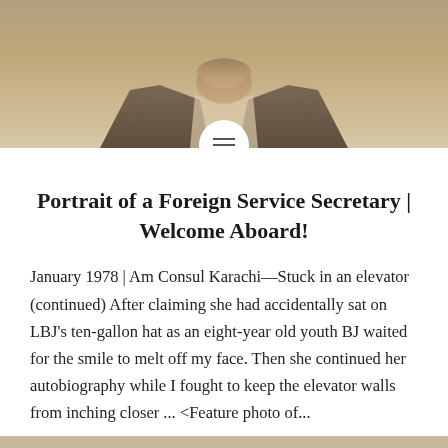[Figure (photo): Sepia-toned photograph of an older man in a jacket, cropped to show chin/neck area with a menu icon circle overlay at the bottom center]
Portrait of a Foreign Service Secretary | Welcome Aboard!
January 1978 | Am Consul Karachi—Stuck in an elevator (continued) After claiming she had accidentally sat on LBJ's ten-gallon hat as an eight-year old youth BJ waited for the smile to melt off my face. Then she continued her autobiography while I fought to keep the elevator walls from inching closer ... <Feature photo of...
READ MORE